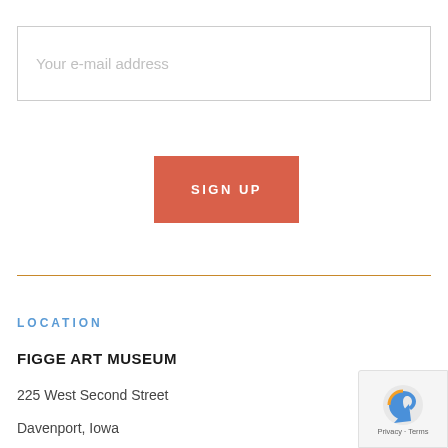Your e-mail address
SIGN UP
LOCATION
FIGGE ART MUSEUM
225 West Second Street
Davenport, Iowa